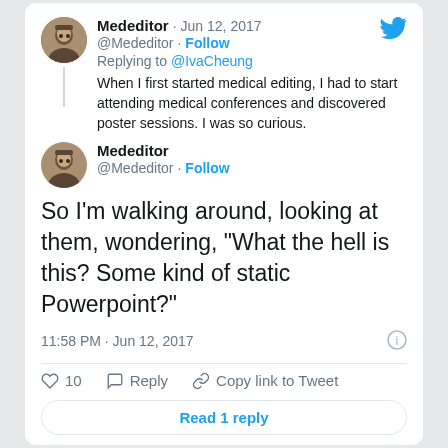Mededitor · Jun 12, 2017
@Mededitor · Follow
Replying to @IvaCheung
When I first started medical editing, I had to start attending medical conferences and discovered poster sessions. I was so curious.
Mededitor
@Mededitor · Follow
So I'm walking around, looking at them, wondering, "What the hell is this? Some kind of static Powerpoint?"
11:58 PM · Jun 12, 2017
10  Reply  Copy link to Tweet
Read 1 reply